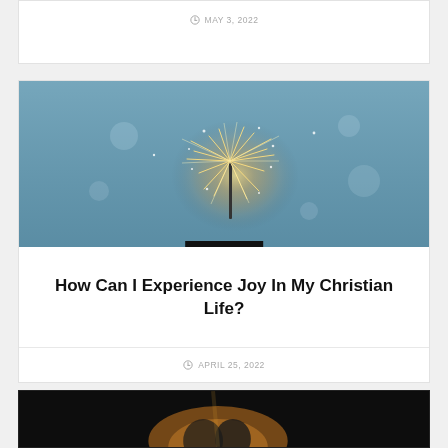MAY 3, 2022
[Figure (photo): A lit sparkler against a blue-grey sky background with bright sparks flying outward]
ARTICLES
How Can I Experience Joy In My Christian Life?
APRIL 25, 2022
[Figure (photo): Dark photo showing a figure with light, partially visible at the bottom of the page]